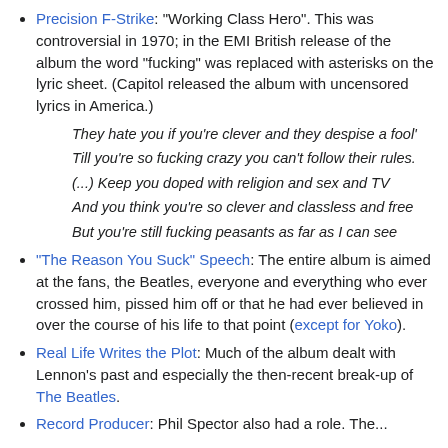Precision F-Strike: "Working Class Hero". This was controversial in 1970; in the EMI British release of the album the word "fucking" was replaced with asterisks on the lyric sheet. (Capitol released the album with uncensored lyrics in America.)
They hate you if you're clever and they despise a fool'
Till you're so fucking crazy you can't follow their rules.
(...) Keep you doped with religion and sex and TV
And you think you're so clever and classless and free
But you're still fucking peasants as far as I can see
"The Reason You Suck" Speech: The entire album is aimed at the fans, the Beatles, everyone and everything who ever crossed him, pissed him off or that he had ever believed in over the course of his life to that point (except for Yoko).
Real Life Writes the Plot: Much of the album dealt with Lennon's past and especially the then-recent break-up of The Beatles.
Record Producer: Phil Spector also had a role. The...